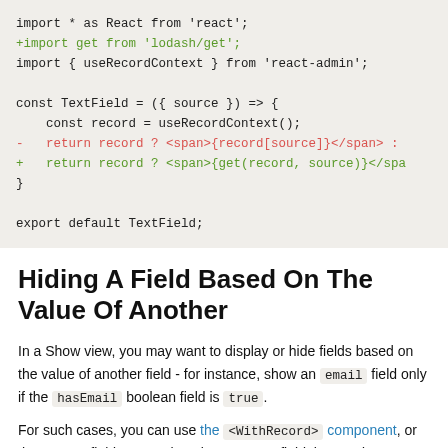[Figure (screenshot): Code diff block showing JavaScript/React code with added and removed lines. Background is light beige. Lines shown: import * as React from 'react'; (normal), +import get from 'lodash/get'; (green/added), import { useRecordContext } from 'react-admin'; (normal), blank, const TextField = ({ source }) => { (normal), const record = useRecordContext(); (normal), - return record ? <span>{record[source]}</span> : (red/removed), + return record ? <span>{get(record, source)}</spa (green/added), } (normal), blank, export default TextField; (normal)]
Hiding A Field Based On The Value Of Another
In a Show view, you may want to display or hide fields based on the value of another field - for instance, show an email field only if the hasEmail boolean field is true.
For such cases, you can use the <WithRecord> component, or the custom field approach: write a custom field that reads